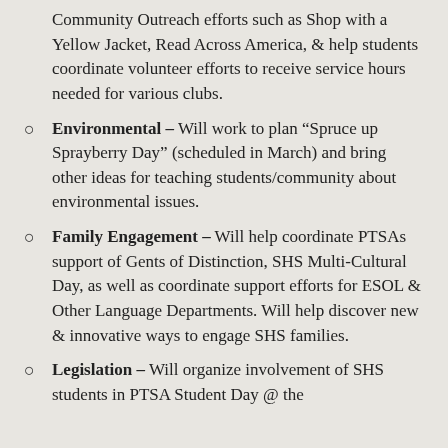Community Outreach efforts such as Shop with a Yellow Jacket, Read Across America, & help students coordinate volunteer efforts to receive service hours needed for various clubs.
Environmental – Will work to plan “Spruce up Sprayberry Day” (scheduled in March) and bring other ideas for teaching students/community about environmental issues.
Family Engagement – Will help coordinate PTSAs support of Gents of Distinction, SHS Multi-Cultural Day, as well as coordinate support efforts for ESOL & Other Language Departments. Will help discover new & innovative ways to engage SHS families.
Legislation – Will organize involvement of SHS students in PTSA Student Day @ the